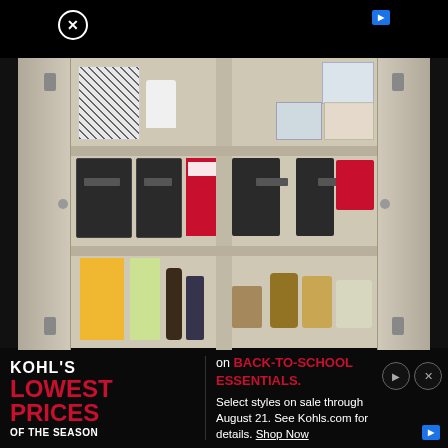[Figure (photo): Advertisement screenshot showing an open kitchen cabinet with organized shelves containing storage bins, food boxes, and jars, overlaid with a Kohl's Back-to-School promotional banner at the bottom. Close (X) button top-left, ad indicator top-right.]
KOHL'S LOWEST PRICES OF THE SEASON on BACK-TO-SCHOOL ESSENTIALS. Select styles on sale through August 21. See Kohls.com for details. Shop Now